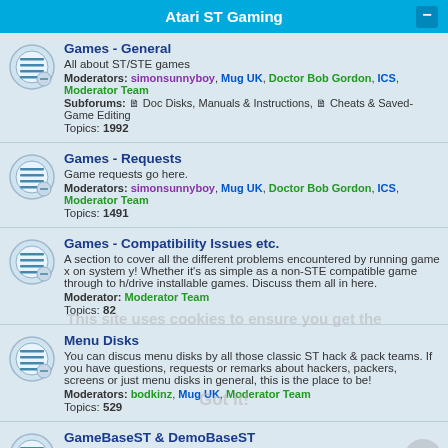Atari ST Gaming
Games - General
All about ST/STE games
Moderators: simonsunnyboy, Mug UK, Doctor Bob Gordon, ICS, Moderator Team
Subforums: Doc Disks, Manuals & Instructions, Cheats & Saved-Game Editing
Topics: 1992
Games - Requests
Game requests go here.
Moderators: simonsunnyboy, Mug UK, Doctor Bob Gordon, ICS, Moderator Team
Topics: 1491
Games - Compatibility Issues etc.
A section to cover all the different problems encountered by running game x on system y! Whether it's as simple as a non-STE compatible game through to h/drive installable games. Discuss them all in here.
Moderator: Moderator Team
Topics: 82
Menu Disks
You can discus menu disks by all those classic ST hack & pack teams. If you have questions, requests or remarks about hackers, packers, screens or just menu disks in general, this is the place to be!
Moderators: bodkinz, Mug UK, Moderator Team
Topics: 529
GameBaseST & DemoBaseST
Come and chat to the team working on the huge Atari ST emulator frontend projects
Moderators: SkylineDave, Goldrunner, Moderator Team